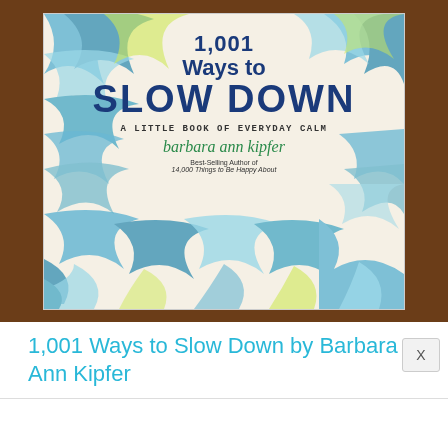[Figure (photo): Photograph of the book '1,001 Ways to Slow Down: A Little Book of Everyday Calm' by Barbara Ann Kipfer, shown on a wooden surface. The book cover features decorative blue and yellow wave patterns with the title in bold blue letters and the author's name in green italic script.]
1,001 Ways to Slow Down by Barbara Ann Kipfer